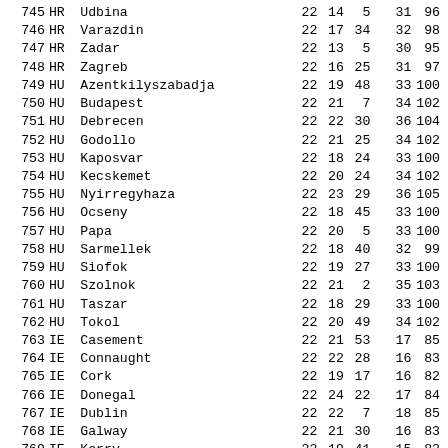| # | CC | Name | D1 | D2 | D3 |  | E1 | E2 |
| --- | --- | --- | --- | --- | --- | --- | --- | --- |
| 745 | HR | Udbina | 22 | 14 | 5 |  | 31 | 96 |
| 746 | HR | Varazdin | 22 | 17 | 34 |  | 32 | 98 |
| 747 | HR | Zadar | 22 | 13 | 5 |  | 30 | 95 |
| 748 | HR | Zagreb | 22 | 16 | 25 |  | 31 | 97 |
| 749 | HU | Azentkilyszabadja | 22 | 19 | 48 |  | 33 | 100 |
| 750 | HU | Budapest | 22 | 21 | 7 |  | 34 | 102 |
| 751 | HU | Debrecen | 22 | 22 | 30 |  | 36 | 104 |
| 752 | HU | Godollo | 22 | 21 | 25 |  | 34 | 102 |
| 753 | HU | Kaposvar | 22 | 18 | 24 |  | 33 | 100 |
| 754 | HU | Kecskemet | 22 | 20 | 24 |  | 34 | 102 |
| 755 | HU | Nyirregyhaza | 22 | 23 | 29 |  | 36 | 105 |
| 756 | HU | Ocseny | 22 | 18 | 45 |  | 33 | 100 |
| 757 | HU | Papa | 22 | 20 | 5 |  | 33 | 100 |
| 758 | HU | Sarmellek | 22 | 18 | 40 |  | 32 | 99 |
| 759 | HU | Siofok | 22 | 19 | 27 |  | 33 | 100 |
| 760 | HU | Szolnok | 22 | 21 | 2 |  | 35 | 103 |
| 761 | HU | Taszar | 22 | 18 | 29 |  | 33 | 100 |
| 762 | HU | Tokol | 22 | 20 | 49 |  | 34 | 102 |
| 763 | IE | Casement | 22 | 21 | 53 |  | 17 | 85 |
| 764 | IE | Connaught | 22 | 22 | 28 |  | 16 | 83 |
| 765 | IE | Cork | 22 | 19 | 17 |  | 16 | 82 |
| 766 | IE | Donegal | 22 | 24 | 22 |  | 17 | 84 |
| 767 | IE | Dublin | 22 | 22 | 7 |  | 18 | 85 |
| 768 | IE | Galway | 22 | 21 | 30 |  | 16 | 83 |
| 769 | IE | Kerry | 22 | 19 | 41 |  | 15 | 82 |
| 770 | IE | Shannon | 22 | 20 | 34 |  | 16 | 82 |
| 771 | IE | Sligo | 22 | 23 | 6 |  | 16 | 84 |
| 772 | IE | Waterford | 22 | 20 | 2 |  | 17 | 83 |
| 773 | IL | Beer-Sheba | 21 | 47 | 58 |  | 42 | 95 |
| 774 | IL | Elat | 21 | 41 | 57 |  | 41 | 93 |